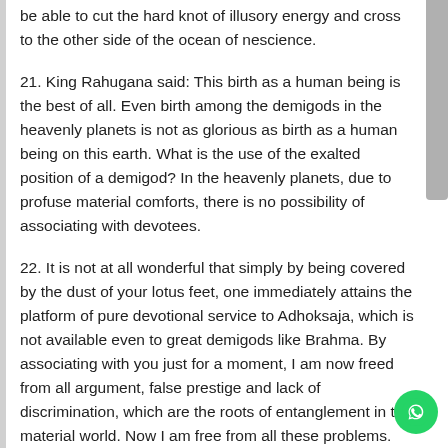be able to cut the hard knot of illusory energy and cross to the other side of the ocean of nescience.
21. King Rahugana said: This birth as a human being is the best of all. Even birth among the demigods in the heavenly planets is not as glorious as birth as a human being on this earth. What is the use of the exalted position of a demigod? In the heavenly planets, due to profuse material comforts, there is no possibility of associating with devotees.
22. It is not at all wonderful that simply by being covered by the dust of your lotus feet, one immediately attains the platform of pure devotional service to Adhoksaja, which is not available even to great demigods like Brahma. By associating with you just for a moment, I am now freed from all argument, false prestige and lack of discrimination, which are the roots of entanglement in the material world. Now I am free from all these problems.
23. I offer my respectful obeisances unto the great personalities, whether they walk on the earth's surface as